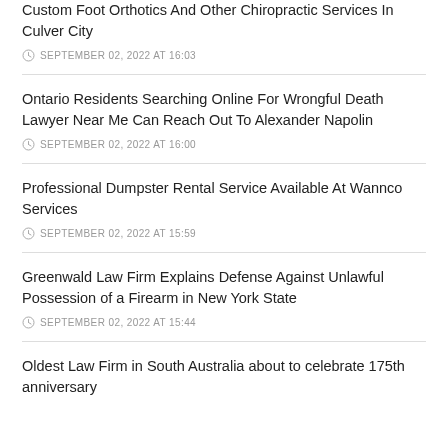Custom Foot Orthotics And Other Chiropractic Services In Culver City
SEPTEMBER 02, 2022 AT 16:03
Ontario Residents Searching Online For Wrongful Death Lawyer Near Me Can Reach Out To Alexander Napolin
SEPTEMBER 02, 2022 AT 16:00
Professional Dumpster Rental Service Available At Wannco Services
SEPTEMBER 02, 2022 AT 15:59
Greenwald Law Firm Explains Defense Against Unlawful Possession of a Firearm in New York State
SEPTEMBER 02, 2022 AT 15:44
Oldest Law Firm in South Australia about to celebrate 175th anniversary